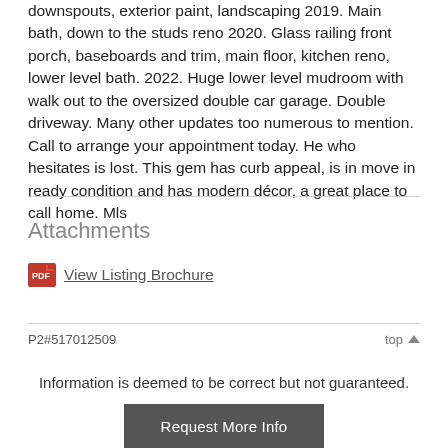downspouts, exterior paint, landscaping 2019. Main bath, down to the studs reno 2020. Glass railing front porch, baseboards and trim, main floor, kitchen reno, lower level bath. 2022. Huge lower level mudroom with walk out to the oversized double car garage. Double driveway. Many other updates too numerous to mention. Call to arrange your appointment today. He who hesitates is lost. This gem has curb appeal, is in move in ready condition and has modern décor, a great place to call home. Mls
Attachments
View Listing Brochure
P2#517012509   top
Information is deemed to be correct but not guaranteed.
Request More Info